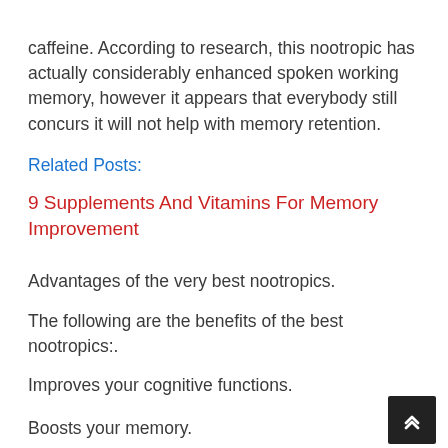caffeine. According to research, this nootropic has actually considerably enhanced spoken working memory, however it appears that everybody still concurs it will not help with memory retention.
Related Posts:
9 Supplements And Vitamins For Memory Improvement
Advantages of the very best nootropics.
The following are the benefits of the best nootropics:.
Improves your cognitive functions.
Boosts your memory.
Enhances your attention.